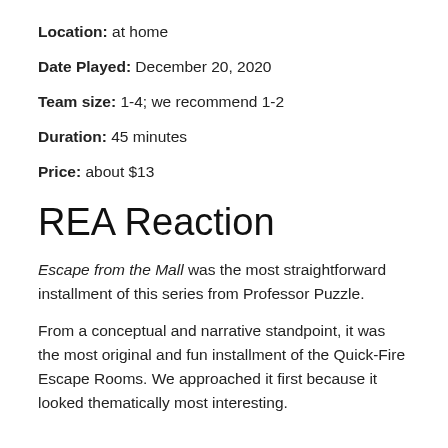Location:  at home
Date Played: December 20, 2020
Team size: 1-4; we recommend 1-2
Duration: 45 minutes
Price: about $13
REA Reaction
Escape from the Mall was the most straightforward installment of this series from Professor Puzzle.
From a conceptual and narrative standpoint, it was the most original and fun installment of the Quick-Fire Escape Rooms. We approached it first because it looked thematically most interesting.